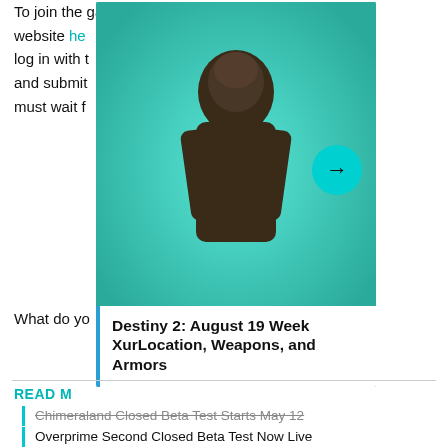To join the game's website here need to log in with to fill out and submit players must wait for the test.
[Figure (screenshot): Video player card overlay showing a hooded character (Xur from Destiny 2) on a teal background, with P1 badge top-left, three-dots menu top-right, a teal arrow-forward button center-right, and a white caption box at the bottom reading: Destiny 2: August 19 Week XurLocation, Weapons, and Armors]
What do yo
READ M
Chimeraland Closed Beta Test Starts May 12
Overprime Second Closed Beta Test Now Live
PROMOTED CONTENT
[Figure (screenshot): Promoted content advertisement banner: dark background with text 'Ukraine: We need heavy weapons' with close button X. Below is an ad for 'The perfect gift' with food/bowl imagery and '35% OFF + FREE SHIPPING' gold badge.]